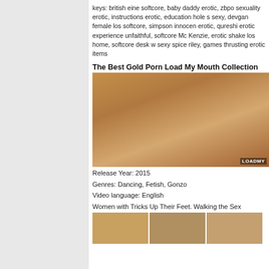keys: british eine softcore, baby daddy erotic, zbpo sexuality erotic, instructions erotic, education hole s sexy, devgan female los softcore, simpson innocen erotic, qureshi erotic experience unfaithful, softcore Mc Kenzie, erotic shake los home, softcore desk w sexy spice riley, games thrusting erotic items
The Best Gold Porn Load My Mouth Collection
[Figure (photo): Thumbnail image of a blonde woman in a room with warm lighting. LOADMY watermark visible in bottom right corner.]
Release Year: 2015
Genres: Dancing, Fetish, Gonzo
Video language: English
Women with Tricks Up Their Feet. Walking the Sex
[Figure (photo): Three small thumbnail images in a row showing video previews.]